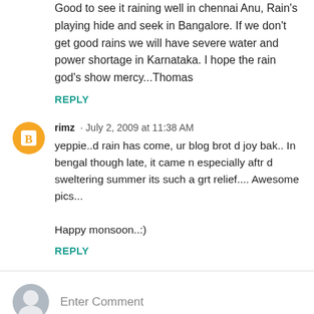Good to see it raining well in chennai Anu, Rain's playing hide and seek in Bangalore. If we don't get good rains we will have severe water and power shortage in Karnataka. I hope the rain god's show mercy...Thomas
REPLY
rimz · July 2, 2009 at 11:38 AM
yeppie..d rain has come, ur blog brot d joy bak.. In bengal though late, it came n especially aftr d sweltering summer its such a grt relief....Awesome pics...

Happy monsoon..:)
REPLY
Enter Comment